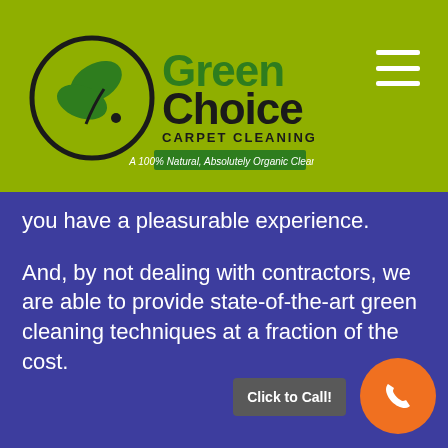[Figure (logo): GreenChoice Carpet Cleaning logo — circular leaf emblem with green and black text reading 'GreenChoice CARPET CLEANING — A 100% Natural, Absolutely Organic Cleaners' on an olive/lime green header bar]
you have a pleasurable experience.
And, by not dealing with contractors, we are able to provide state-of-the-art green cleaning techniques at a fraction of the cost.